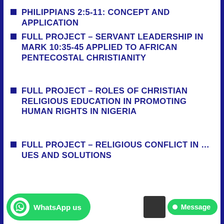PHILIPPIANS 2:5-11: CONCEPT AND APPLICATION
FULL PROJECT – SERVANT LEADERSHIP IN MARK 10:35-45 APPLIED TO AFRICAN PENTECOSTAL CHRISTIANITY
FULL PROJECT – ROLES OF CHRISTIAN RELIGIOUS EDUCATION IN PROMOTING HUMAN RIGHTS IN NIGERIA
FULL PROJECT – RELIGIOUS CONFLICT IN …UES AND SOLUTIONS